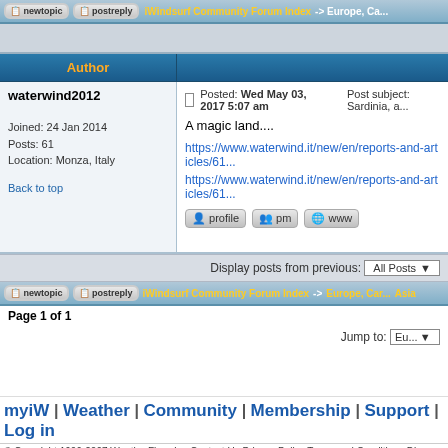iWindsurf Community Forum Index -> Europe, Ca...
| Author |  |
| --- | --- |
| waterwind2012

Joined: 24 Jan 2014
Posts: 61
Location: Monza, Italy | Posted: Wed May 03, 2017 5:07 am   Post subject: Sardinia, a...
A magic land....

https://www.waterwind.it/new/en/reports-and-articles/61...

https://www.waterwind.it/new/en/reports-and-articles/61... |
Display posts from previous: All Posts
iWindsurf Community Forum Index -> Europe, Car... Asia
Page 1 of 1
Jump to: Eu...
myiW | Weather | Community | Membership | Support | Log in
© Copyright 1999-2007 WeatherFlow, Inc Contact Us Privacy Policy Terms and Conditions Disc...
Powered by phpBB © 2001, 200...